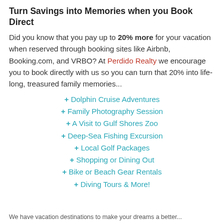Turn Savings into Memories when you Book Direct
Did you know that you pay up to 20% more for your vacation when reserved through booking sites like Airbnb, Booking.com, and VRBO? At Perdido Realty we encourage you to book directly with us so you can turn that 20% into life-long, treasured family memories...
+ Dolphin Cruise Adventures
+ Family Photography Session
+ A Visit to Gulf Shores Zoo
+ Deep-Sea Fishing Excursion
+ Local Golf Packages
+ Shopping or Dining Out
+ Bike or Beach Gear Rentals
+ Diving Tours & More!
We have vacation destinations to make your dreams a better...